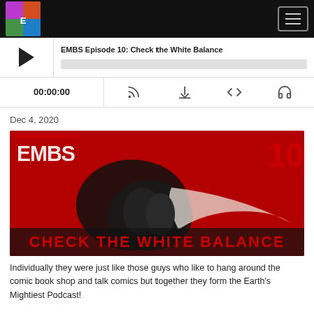EMBS podcast website header with logo and hamburger menu
[Figure (screenshot): Podcast player widget showing episode: EMBS Episode 10: Check the White Balance, with play button, progress bar, timestamp 00:00:00, and controls for RSS, download, embed, and headphones]
Dec 4, 2020
[Figure (photo): Episode artwork for EMBS Episode 10 titled CHECK THE WHITE BALANCE, showing dark figures against a red background with the number 10 in the top right corner and EMBS logo in the top left]
Individually they were just like those guys who like to hang around the comic book shop and talk comics but together they form the Earth's Mightiest Podcast!